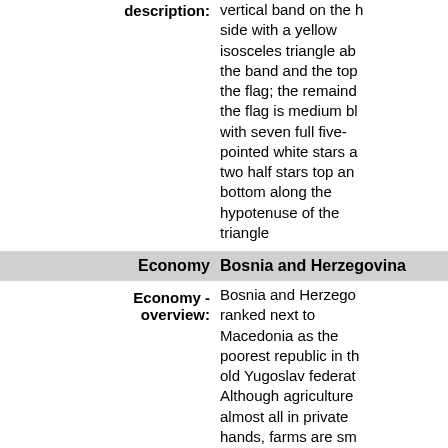description: vertical band on the hoist side with a yellow isosceles triangle ab the band and the top the flag; the remaind the flag is medium bl with seven full five-pointed white stars a two half stars top an bottom along the hypotenuse of the triangle
Economy   Bosnia and Herzegovina
Economy - overview: Bosnia and Herzego ranked next to Macedonia as the poorest republic in th old Yugoslav federat Although agriculture almost all in private hands, farms are sm and inefficient, and t republic traditionally net importer of food